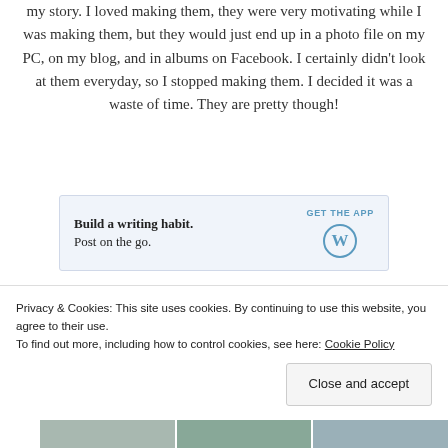my story. I loved making them, they were very motivating while I was making them, but they would just end up in a photo file on my PC, on my blog, and in albums on Facebook. I certainly didn't look at them everyday, so I stopped making them. I decided it was a waste of time. They are pretty though!
[Figure (other): WordPress app advertisement banner: 'Build a writing habit. Post on the go.' with GET THE APP link and WordPress logo]
[Figure (photo): A strip of three photo thumbnails showing blurred teal/green toned images]
Privacy & Cookies: This site uses cookies. By continuing to use this website, you agree to their use.
To find out more, including how to control cookies, see here: Cookie Policy
Close and accept
[Figure (photo): A strip of three photo thumbnails showing blurred teal/green toned images at the bottom of the page]